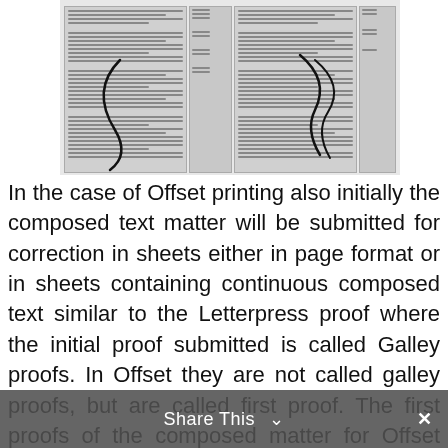[Figure (photo): Scanned document pages with handwritten annotations, showing text columns in two panels with curved handwritten marks overlaid on the right side.]
In the case of Offset printing also initially the composed text matter will be submitted for correction in sheets either in page format or in sheets containing continuous composed text similar to the Letterpress proof where the initial proof submitted is called Galley proofs. In Offset they are not called galley proofs, but are called first proof. The first proofs of the composed matter for Offset printing may or may not be in the form of pages but not numbered. Once the first proof is read and corrected, they will be paginated i.e split into pages, headings and subheadings in appropriate size inserted, spaces kept for incorporating illustrations and submitted as Page
Share This ∨  ×